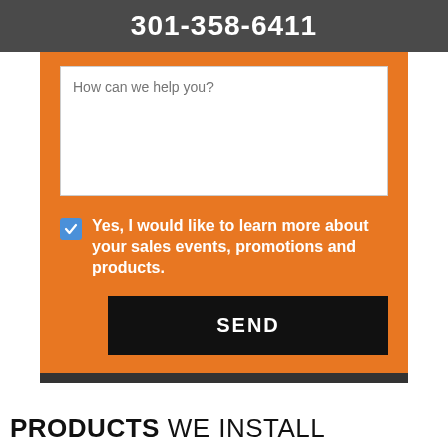301-358-6411
How can we help you?
Yes, I would like to learn more about your sales events, promotions and products.
SEND
PRODUCTS WE INSTALL
[Figure (photo): Partial view of what appears to be a wooden door or similar product at the bottom of the page]